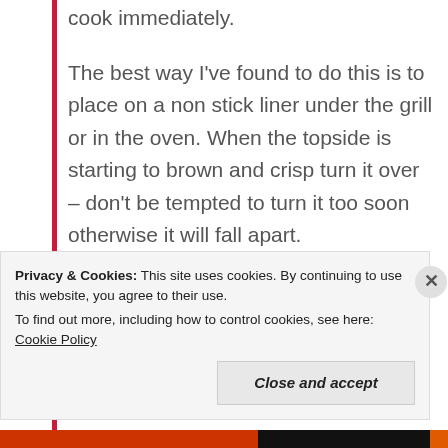cook immediately.
The best way I've found to do this is to place on a non stick liner under the grill or in the oven. When the topside is starting to brown and crisp turn it over – don't be tempted to turn it too soon otherwise it will fall apart.
You can also brush the bacon with a mixture of liquid smoke and maple syrup before cooking for an extra tasty kick.
Privacy & Cookies: This site uses cookies. By continuing to use this website, you agree to their use.
To find out more, including how to control cookies, see here: Cookie Policy